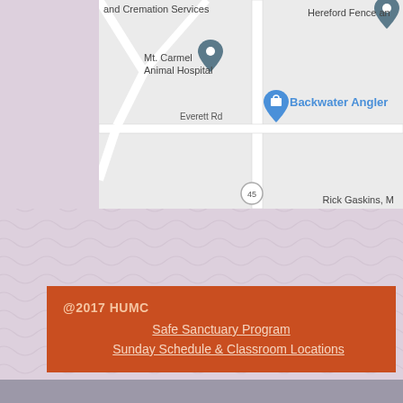[Figure (map): Google Maps screenshot showing local area with pins for Mt. Carmel Animal Hospital, Backwater Angler, Hereford Fence, Rick Gaskins M, and Cremation Services. Streets include Everett Rd.]
@2017 HUMC
Safe Sanctuary Program
Sunday Schedule & Classroom Locations